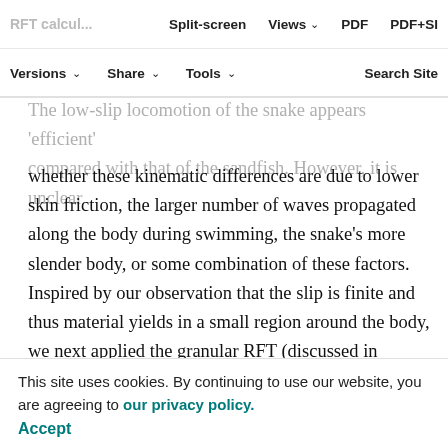RFT calculations of slip | Views | PDF | PDF+SI | Versions | Share | Tools | Search Site
The low-slip locomotion of the snake appears 'efficient' compared with that of the sandfish. However, it is unclear whether these kinematic differences are due to lower skin friction, the larger number of waves propagated along the body during swimming, the snake's more slender body, or some combination of these factors. Inspired by our observation that the slip is finite and thus material yields in a small region around the body, we next applied the granular RFT (discussed in Materials and methods) to the snake to tease apart the effect of these factors on subarenaceous movement. In the model, we assumed that the snake used its observed traveling wave pattern thereby applying a neural control strategy to bend its body into a desired shape; we will return to this point
This site uses cookies. By continuing to use our website, you are agreeing to our privacy policy. Accept